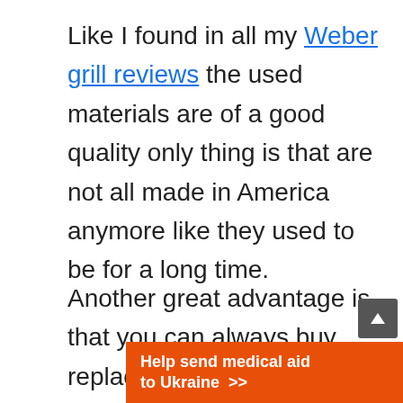Like I found in all my Weber grill reviews the used materials are of a good quality only thing is that are not all made in America anymore like they used to be for a long time.
Another great advantage is that you can always buy replacement parts for your Weber grill. If you need some you
[Figure (other): Orange advertisement banner reading 'Help send medical aid to Ukraine >>' with Direct Relief logo on right]